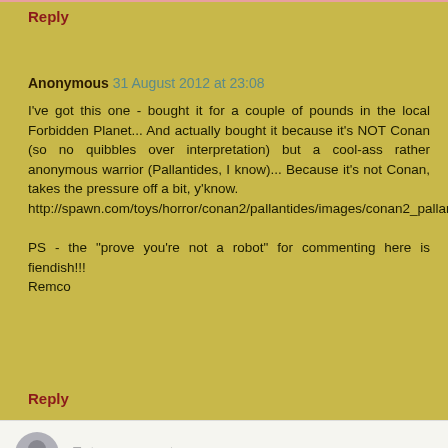Reply
Anonymous  31 August 2012 at 23:08
I've got this one - bought it for a couple of pounds in the local Forbidden Planet... And actually bought it because it's NOT Conan (so no quibbles over interpretation) but a cool-ass rather anonymous warrior (Pallantides, I know)... Because it's not Conan, takes the pressure off a bit, y'know.
http://spawn.com/toys/horror/conan2/pallantides/images/conan2_pallantides_photo_04_dp.jpg

PS - the "prove you're not a robot" for commenting here is fiendish!!!
Remco
Reply
Enter comment